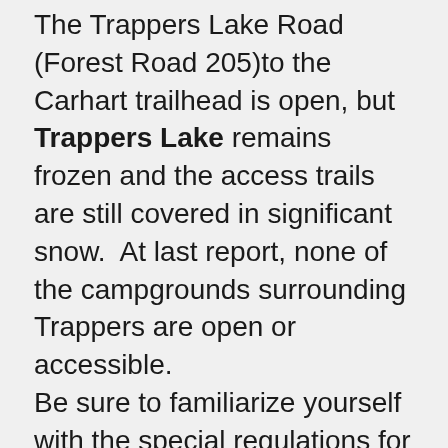The Trappers Lake Road (Forest Road 205)to the Carhart trailhead is open, but Trappers Lake remains frozen and the access trails are still covered in significant snow.  At last report, none of the campgrounds surrounding Trappers are open or accessible.
Be sure to familiarize yourself with the special regulations for Trappers.  Only artificial flies and lures are permitted and the number and size of cutthroats in possession is restricted, but keep all of the brookies you'd like!  The lake sits within the boundaries of the Flat Tops Wilderness, so motorized vehicles and watercraft are prohibited.
Access Lake of the Woods via the Trappers Lake Road and Lake Of The Woods Trail #2263.  The ice is off.  The lake and the trail are both open.  Reports are that the fishing is excellent.  The fish are feeding very aggressively both on and below the surface